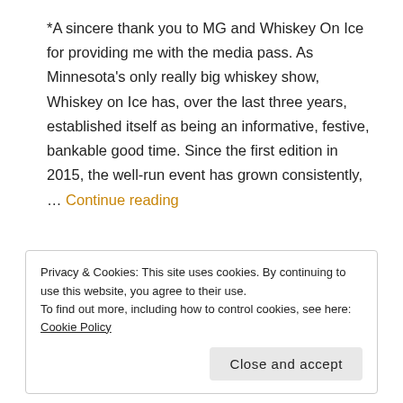*A sincere thank you to MG and Whiskey On Ice for providing me with the media pass. As Minnesota's only really big whiskey show, Whiskey on Ice has, over the last three years, established itself as being an informative, festive, bankable good time. Since the first edition in 2015, the well-run event has grown consistently, … Continue reading
Privacy & Cookies: This site uses cookies. By continuing to use this website, you agree to their use. To find out more, including how to control cookies, see here: Cookie Policy